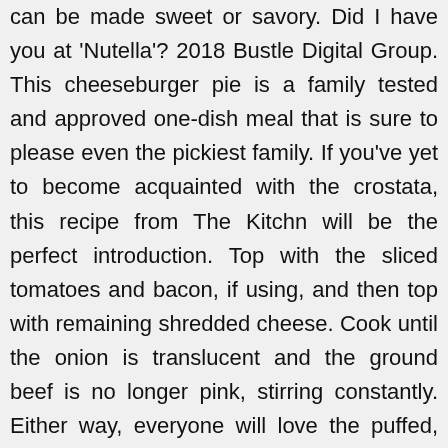can be made sweet or savory. Did I have you at 'Nutella'? 2018 Bustle Digital Group. This cheeseburger pie is a family tested and approved one-dish meal that is sure to please even the pickiest family. If you've yet to become acquainted with the crostata, this recipe from The Kitchn will be the perfect introduction. Top with the sliced tomatoes and bacon, if using, and then top with remaining shredded cheese. Cook until the onion is translucent and the ground beef is no longer pink, stirring constantly. Either way, everyone will love the puffed, cheesy cilantro-grits crust. Don't add extra water! You can make individual servings in 10-ounce ramekins or one large pot pie using a 3-quart baking dish. Easy to roll, buttery-tasting, and somewhere between flaky/crumbly, it's like an old friend: reliable and forgiving. Easy pies, pot pies, quiches and more. Time needed: 15 minutes. Homemade crackers can be much easier than you may have imagined. The recipe makes enough for a top and bottom crust for a 9-12 inch pie ... Making homemade pie crust can be finicky and frustrating. Serve with your choice of sides and enjoy! Also known as a sheet pan pizza, Food ... save a printable